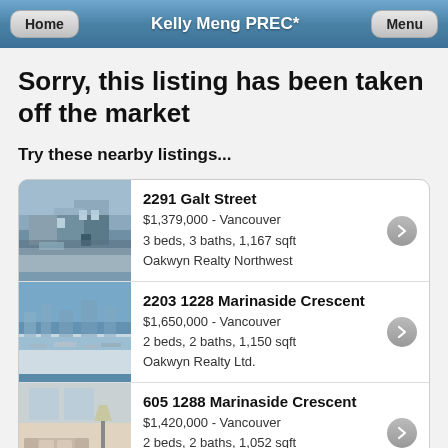Kelly Meng PREC*
Sorry, this listing has been taken off the market
Try these nearby listings...
2291 Galt Street
$1,379,000 - Vancouver
3 beds, 3 baths, 1,167 sqft
Oakwyn Realty Northwest
2203 1228 Marinaside Crescent
$1,650,000 - Vancouver
2 beds, 2 baths, 1,150 sqft
Oakwyn Realty Ltd.
605 1288 Marinaside Crescent
$1,420,000 - Vancouver
2 beds, 2 baths, 1,052 sqft
RE/MAX City Realty